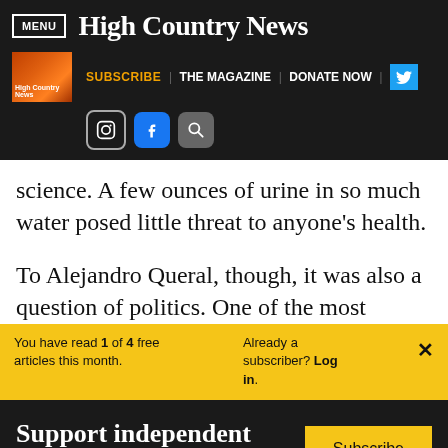MENU | High Country News
SUBSCRIBE | THE MAGAZINE | DONATE NOW
science. A few ounces of urine in so much water posed little threat to anyone’s health.
To Alejandro Queral, though, it was also a question of politics. One of the most
You have read 1 of 4 free articles this month. Already a subscriber? Log in.
Support independent journalism. Subscribe